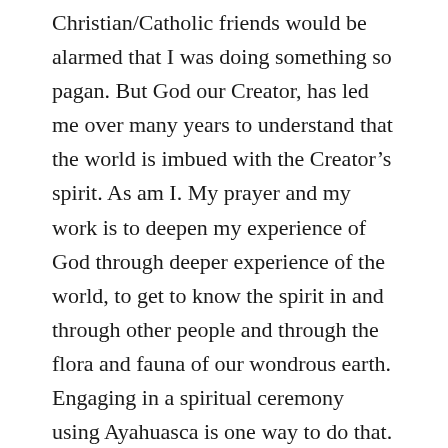Christian/Catholic friends would be alarmed that I was doing something so pagan. But God our Creator, has led me over many years to understand that the world is imbued with the Creator's spirit. As am I. My prayer and my work is to deepen my experience of God through deeper experience of the world, to get to know the spirit in and through other people and through the flora and fauna of our wondrous earth. Engaging in a spiritual ceremony using Ayahuasca is one way to do that. To engage in these things with a wise and caring person such as Wakana makes it an enhancement of my own spirituality and helps me to broaden and strengthen my sense of God in the world. St. Francis of Assisi would get it. I will be exploring this further as I continue the blog. I will continue the blog until there is nothing more for me to say. I hope for the more of